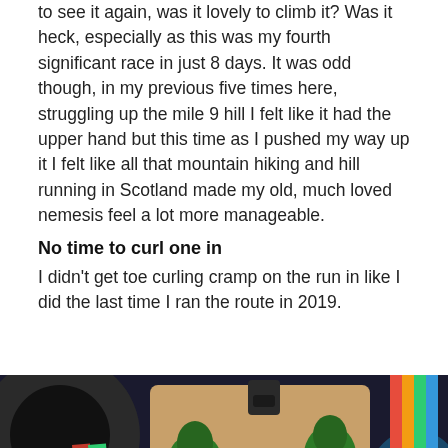to see it again, was it lovely to climb it? Was it heck, especially as this was my fourth significant race in just 8 days. It was odd though, in my previous five times here, struggling up the mile 9 hill I felt like it had the upper hand but this time as I pushed my way up it I felt like all that mountain hiking and hill running in Scotland made my old, much loved nemesis feel a lot more manageable.
No time to curl one in
I didn't get toe curling cramp on the run in like I did the last time I ran the route in 2019.
[Figure (photo): Close-up photo of a wooden race medal/tag with the number 10 in red on a green camouflage background with tree shapes. Surrounded by other colorful medals and a dart board visible in the background.]